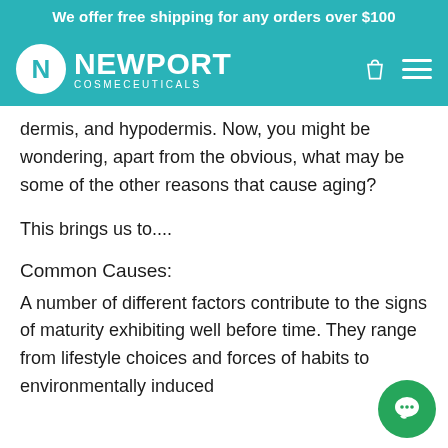We offer free shipping for any orders over $100
[Figure (logo): Newport Cosmeceuticals logo with teal header bar, shopping bag icon, and hamburger menu icon]
dermis, and hypodermis. Now, you might be wondering, apart from the obvious, what may be some of the other reasons that cause aging?
This brings us to....
Common Causes:
A number of different factors contribute to the signs of maturity exhibiting well before time. They range from lifestyle choices and forces of habits to environmentally induced